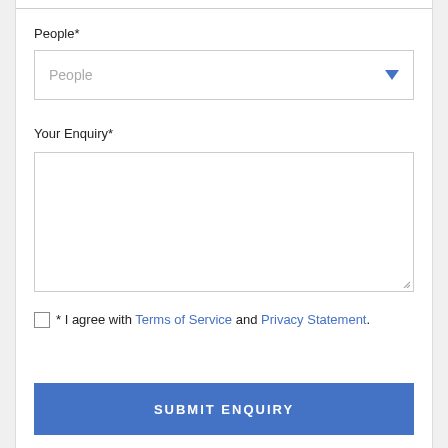People*
People (dropdown selector)
Your Enquiry*
(textarea input box)
* I agree with Terms of Service and Privacy Statement.
SUBMIT ENQUIRY